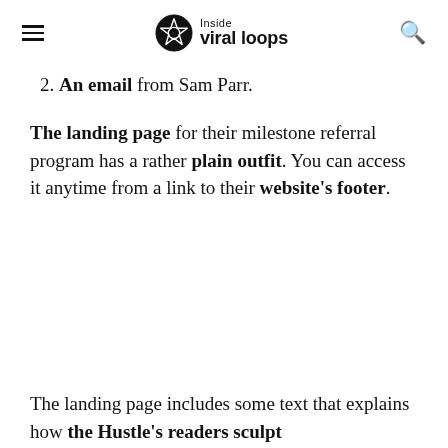Inside viral loops
2. An email from Sam Parr.
The landing page for their milestone referral program has a rather plain outfit. You can access it anytime from a link to their website's footer.
The landing page includes some text that explains how the Hustle's readers sculpt